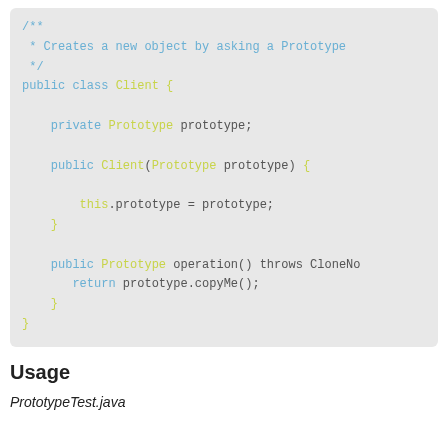[Figure (screenshot): Java code block showing the Client class implementing the Prototype pattern, with a comment, private field, constructor, and operation method.]
Usage
PrototypeTest.java